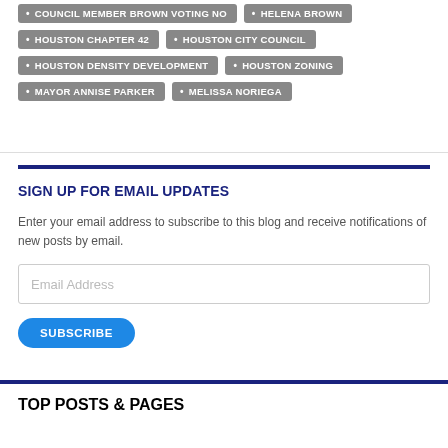COUNCIL MEMBER BROWN VOTING NO
HELENA BROWN
HOUSTON CHAPTER 42
HOUSTON CITY COUNCIL
HOUSTON DENSITY DEVELOPMENT
HOUSTON ZONING
MAYOR ANNISE PARKER
MELISSA NORIEGA
SIGN UP FOR EMAIL UPDATES
Enter your email address to subscribe to this blog and receive notifications of new posts by email.
Email Address
SUBSCRIBE
TOP POSTS & PAGES